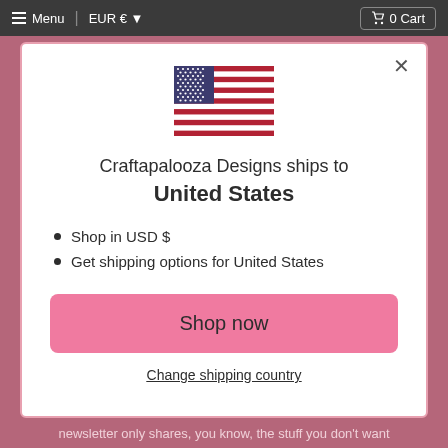Menu  EUR €  0 Cart
[Figure (illustration): United States flag — blue canton with white stars, alternating red and white stripes]
Craftapalooza Designs ships to United States
Shop in USD $
Get shipping options for United States
Shop now
Change shipping country
newsletter only shares, you know, the stuff you don't want